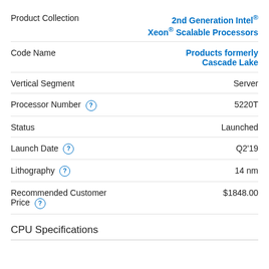Product Collection | 2nd Generation Intel® Xeon® Scalable Processors
Code Name | Products formerly Cascade Lake
Vertical Segment | Server
Processor Number | 5220T
Status | Launched
Launch Date | Q2'19
Lithography | 14 nm
Recommended Customer Price | $1848.00
CPU Specifications